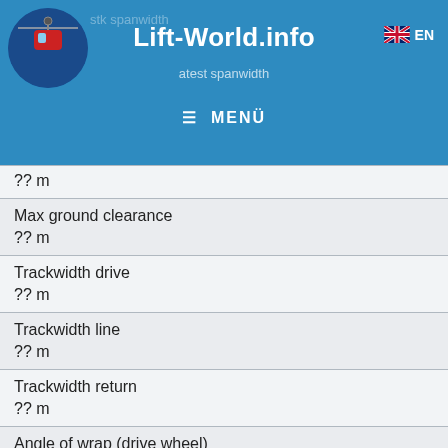Lift-World.info
?? m
| Max ground clearance | ?? m |
| Trackwidth drive | ?? m |
| Trackwidth line | ?? m |
| Trackwidth return | ?? m |
| Angle of wrap (drive wheel) | ?? ° |
| Drive altitude of site |  |